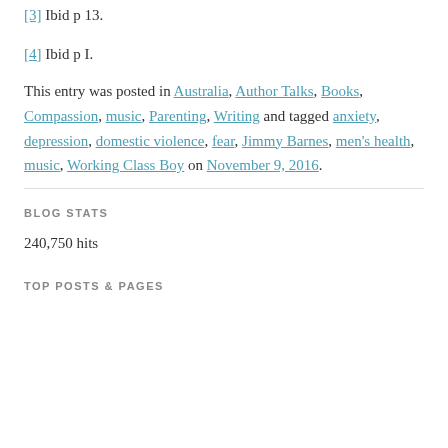[3] Ibid p 13.
[4] Ibid p I.
This entry was posted in Australia, Author Talks, Books, Compassion, music, Parenting, Writing and tagged anxiety, depression, domestic violence, fear, Jimmy Barnes, men's health, music, Working Class Boy on November 9, 2016.
BLOG STATS
240,750 hits
TOP POSTS & PAGES